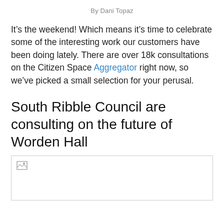By Dani Topaz
It’s the weekend! Which means it’s time to celebrate some of the interesting work our customers have been doing lately. There are over 18k consultations on the Citizen Space Aggregator right now, so we’ve picked a small selection for your perusal.
South Ribble Council are consulting on the future of Worden Hall
[Figure (photo): Broken image placeholder for a photo related to Worden Hall]